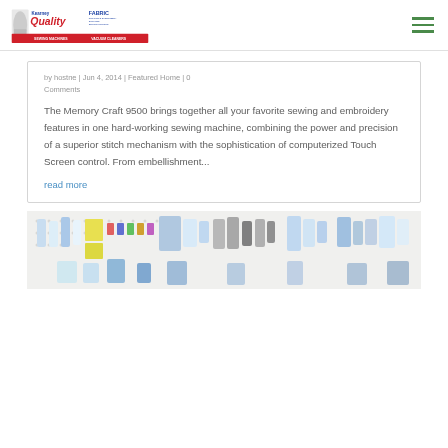Kearney Quality Fabric — logo and navigation
by hostne | Jun 4, 2014 | Featured Home | 0 Comments
The Memory Craft 9500 brings together all your favorite sewing and embroidery features in one hard-working sewing machine, combining the power and precision of a superior stitch mechanism with the sophistication of computerized Touch Screen control. From embellishment...
read more
[Figure (photo): Pegboard wall display of sewing notions, threads, scissors, and sewing supplies in a retail store]